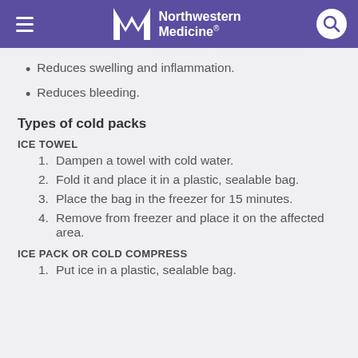Northwestern Medicine
Reduces swelling and inflammation.
Reduces bleeding.
Types of cold packs
ICE TOWEL
1. Dampen a towel with cold water.
2. Fold it and place it in a plastic, sealable bag.
3. Place the bag in the freezer for 15 minutes.
4. Remove from freezer and place it on the affected area.
ICE PACK OR COLD COMPRESS
1. Put ice in a plastic, sealable bag.